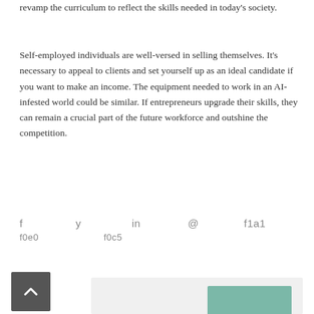revamp the curriculum to reflect the skills needed in today's society.
Self-employed individuals are well-versed in selling themselves. It's necessary to appeal to clients and set yourself up as an ideal candidate if you want to make an income. The equipment needed to work in an AI-infested world could be similar. If entrepreneurs upgrade their skills, they can remain a crucial part of the future workforce and outshine the competition.
f f0e0   f0c5   in   f1a1
[Figure (other): Back to top button (dark gray square with white upward arrow), and author profile section with photo thumbnail on gray background]